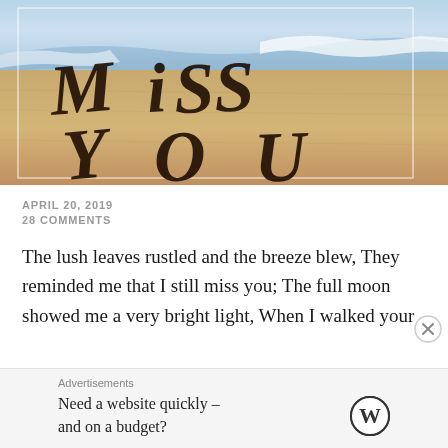[Figure (photo): Beach sand with 'MISS YOU' written in large dark letters, ocean waves visible in background, golden sandy beach.]
APRIL 20, 2019
28 COMMENTS
The lush leaves rustled and the breeze blew, They reminded me that I still miss you; The full moon showed me a very bright light, When I walked your
Advertisements
Need a website quickly – and on a budget?